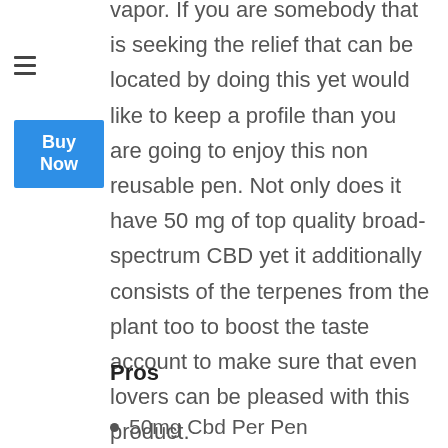vapor. If you are somebody that is seeking the relief that can be located by doing this yet would like to keep a profile than you are going to enjoy this non reusable pen. Not only does it have 50 mg of top quality broad-spectrum CBD yet it additionally consists of the terpenes from the plant too to boost the taste account to make sure that even lovers can be pleased with this product.
Pros
50mg Cbd Per Pen